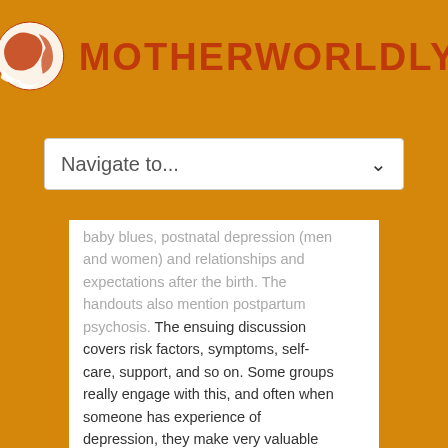[Figure (logo): Motherworldly logo with globe graphic and orange text]
Navigate to...
baby blues, postnatal depression (men and women) and relationships and expectations after the birth. The handouts also mention postpartum psychosis. The ensuing discussion covers risk factors, symptoms, self-care, support, and so on. Some groups really engage with this, and often when someone has experience of depression, they make very valuable contributions. I'm always aware that there may be people who have experienced it and will stay very quiet. Once I observed an antenatal session